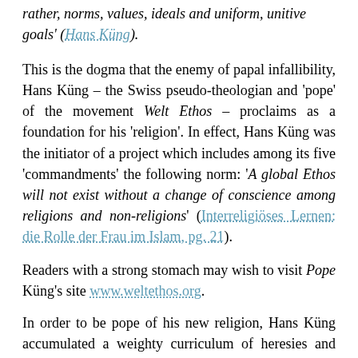rather, norms, values, ideals and uniform, unitive goals' (Hans Küng).
This is the dogma that the enemy of papal infallibility, Hans Küng – the Swiss pseudo-theologian and 'pope' of the movement Welt Ethos – proclaims as a foundation for his 'religion'. In effect, Hans Küng was the initiator of a project which includes among its five 'commandments' the following norm: 'A global Ethos will not exist without a change of conscience among religions and non-religions' (Interreligiöses Lernen: die Rolle der Frau im Islam, pg. 21).
Readers with a strong stomach may wish to visit Pope Küng's site www.weltethos.org.
In order to be pope of his new religion, Hans Küng accumulated a weighty curriculum of heresies and betrayals of his priestly vows, of his solemn pledge to teach Catholic doctrine, as well as his antimodernist pledge. He